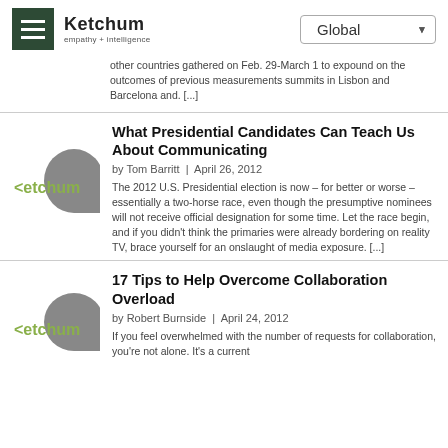Ketchum empathy + intelligence | Global
other countries gathered on Feb. 29-March 1 to expound on the outcomes of previous measurements summits in Lisbon and Barcelona and. [...]
What Presidential Candidates Can Teach Us About Communicating
by Tom Barritt | April 26, 2012
The 2012 U.S. Presidential election is now – for better or worse – essentially a two-horse race, even though the presumptive nominees will not receive official designation for some time. Let the race begin, and if you didn't think the primaries were already bordering on reality TV, brace yourself for an onslaught of media exposure. [...]
17 Tips to Help Overcome Collaboration Overload
by Robert Burnside | April 24, 2012
If you feel overwhelmed with the number of requests for collaboration, you're not alone. It's a current